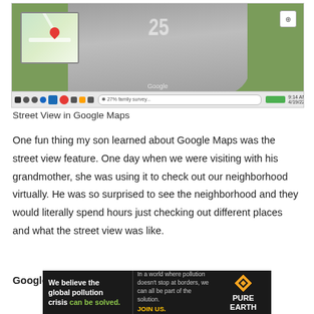[Figure (screenshot): Screenshot of Google Maps Street View showing a road with grass on the sides, with a map thumbnail in the top-left corner and a browser taskbar at the bottom.]
Street View in Google Maps
One fun thing my son learned about Google Maps was the street view feature. One day when we were visiting with his grandmother, she was using it to check out our neighborhood virtually. He was so surprised to see the neighborhood and they would literally spend hours just checking out different places and what the street view was like.
Google Maps virtual visits are so helpful to be able to
[Figure (photo): Pure Earth advertisement banner: dark background with text 'We believe the global pollution crisis can be solved.' and Pure Earth logo on right.]